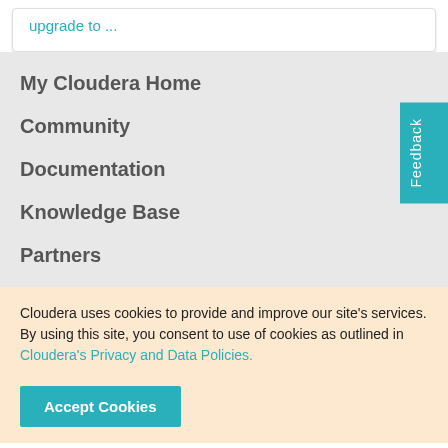upgrade to ...
My Cloudera Home
Community
Documentation
Knowledge Base
Partners
Cloudera uses cookies to provide and improve our site's services. By using this site, you consent to use of cookies as outlined in Cloudera's Privacy and Data Policies.
Accept Cookies